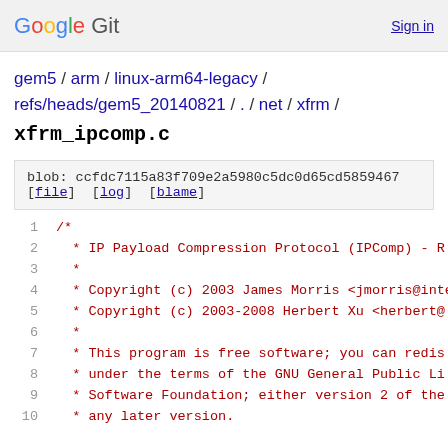Google Git  Sign in
gem5 / arm / linux-arm64-legacy / refs/heads/gem5_20140821 / . / net / xfrm / xfrm_ipcomp.c
blob: ccfdc7115a83f709e2a5980c5dc0d65cd5859467
[file] [log] [blame]
1	/*
2	 * IP Payload Compression Protocol (IPComp) - R
3	 *
4	 * Copyright (c) 2003 James Morris <jmorris@inte
5	 * Copyright (c) 2003-2008 Herbert Xu <herbert@
6	 *
7	 * This program is free software; you can redis
8	 * under the terms of the GNU General Public Li
9	 * Software Foundation; either version 2 of the
10	 * any later version.